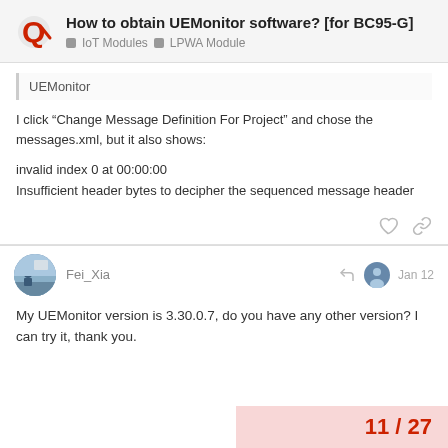How to obtain UEMonitor software? [for BC95-G] | IoT Modules | LPWA Module
UEMonitor
I click “Change Message Definition For Project” and chose the messages.xml, but it also shows:
invalid index 0 at 00:00:00
Insufficient header bytes to decipher the sequenced message header
Fei_Xia
Jan 12
My UEMonitor version is 3.30.0.7, do you have any other version? I can try it, thank you.
11 / 27